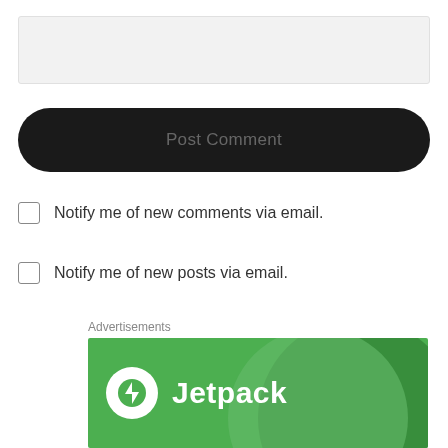[Figure (screenshot): Text area input box with light gray background]
[Figure (screenshot): Dark rounded Post Comment button]
Notify me of new comments via email.
Notify me of new posts via email.
Advertisements
[Figure (logo): Jetpack advertisement banner with green background and white Jetpack logo and text]